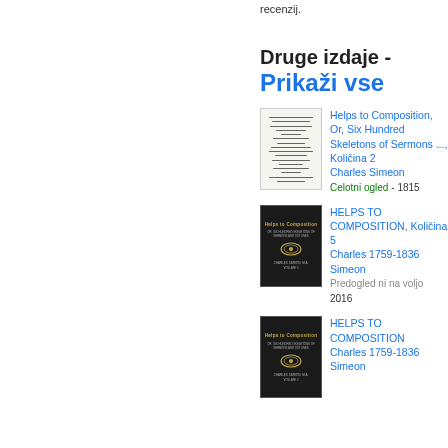recenzij.
Druge izdaje -
Prikaži vse
[Figure (illustration): Thumbnail of old book cover for Helps to Composition, Or, Six Hundred Skeletons of Sermons, Količina 2]
Helps to Composition, Or, Six Hundred Skeletons of Sermons ..., Količina 2
Charles Simeon
Celotni ogled - 1815
[Figure (illustration): Thumbnail of new black book cover for HELPS TO COMPOSITION, Količina 5]
HELPS TO COMPOSITION, Količina 5
Charles 1759-1836 Simeon
Predogled ni na voljo
2016
[Figure (illustration): Thumbnail of new black book cover for HELPS TO COMPOSITION]
HELPS TO COMPOSITION
Charles 1759-1836 Simeon